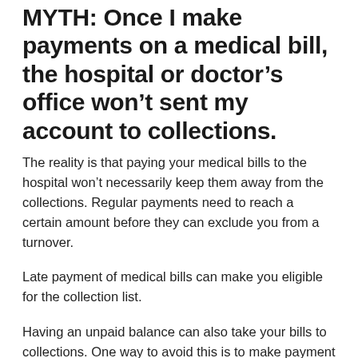MYTH: Once I make payments on a medical bill, the hospital or doctor's office won't sent my account to collections.
The reality is that paying your medical bills to the hospital won't necessarily keep them away from the collections. Regular payments need to reach a certain amount before they can exclude you from a turnover.
Late payment of medical bills can make you eligible for the collection list.
Having an unpaid balance can also take your bills to collections. One way to avoid this is to make payment plan arrangements with the doctor's office or the hospital that billed you.